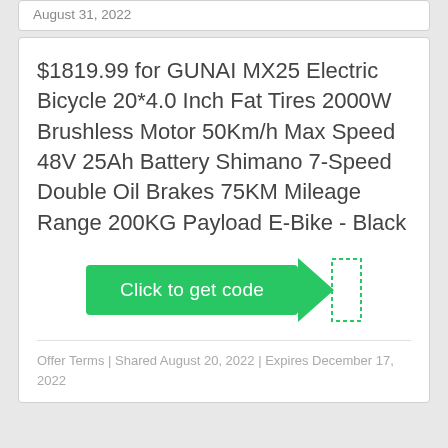August 31, 2022
$1819.99 for GUNAI MX25 Electric Bicycle 20*4.0 Inch Fat Tires 2000W Brushless Motor 50Km/h Max Speed 48V 25Ah Battery Shimano 7-Speed Double Oil Brakes 75KM Mileage Range 200KG Payload E-Bike - Black
[Figure (other): Green 'Click to get code' button with a dotted-border arrow/tab extending to the right]
Offer Terms | Shared August 20, 2022 | Expires December 17, 2022